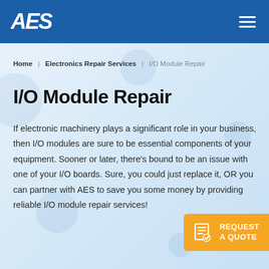AES
Home | Electronics Repair Services | I/O Module Repair
I/O Module Repair
If electronic machinery plays a significant role in your business, then I/O modules are sure to be essential components of your equipment. Sooner or later, there's bound to be an issue with one of your I/O boards. Sure, you could just replace it, OR you can partner with AES to save you some money by providing reliable I/O module repair services!
REQUEST A QUOTE